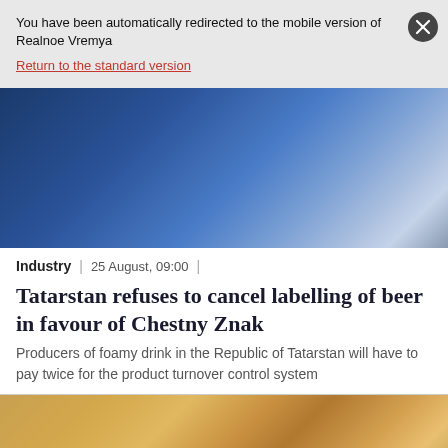You have been automatically redirected to the mobile version of Realnoe Vremya
Return to the standard version
[Figure (photo): Blurred blue-toned image, likely a beverage or industrial scene]
Industry | 25 August, 09:00 |
Tatarstan refuses to cancel labelling of beer in favour of Chestny Znak
Producers of foamy drink in the Republic of Tatarstan will have to pay twice for the product turnover control system
[Figure (photo): Blurred warm-toned orange/brown image, likely beer or wooden barrels]